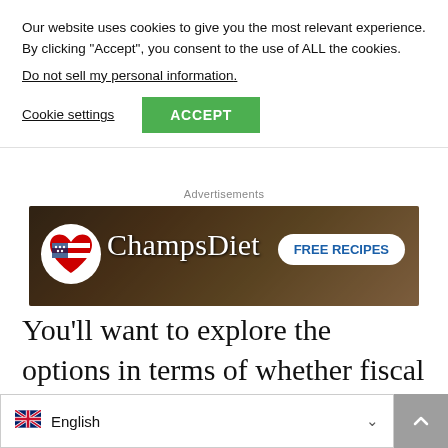Our website uses cookies to give you the most relevant experience. By clicking “Accept”, you consent to the use of ALL the cookies.
Do not sell my personal information.
Cookie settings
ACCEPT
Advertisements
[Figure (photo): ChampsDiet advertisement banner with food background, American flag heart logo, cursive ChampsDiet text, and FREE RECIPES button]
You’ll want to explore the options in terms of whether fiscal sponsorship will provide you with the benefits that you need. Often, small nonprofits can get started in a matter of w